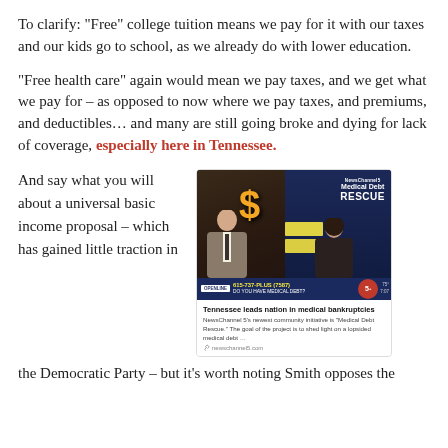To clarify: “Free” college tuition means we pay for it with our taxes and our kids go to school, as we already do with lower education.
“Free health care” again would mean we pay taxes, and we get what we pay for – as opposed to now where we pay taxes, and premiums, and deductibles… and many are still going broke and dying for lack of coverage, especially here in Tennessee.
And say what you will about a universal basic income proposal – which has gained little traction in
[Figure (photo): TV news screenshot showing NewsChannel 5 Medical Debt Rescue segment with two people at a desk, dollar sign graphic, phone number 615-737-PLUS (7587), and question 'Do you have medical debt?' with a news card below saying 'Tennessee leads nation in medical bankruptcies']
Tennessee leads nation in medical bankruptcies
NewsChannel 5’s newest community initiative is “Medical Debt Rescue.” The goal of the project is to shed light on a lopsided medical debt …
newschannel5.com
the Democratic Party – but it’s worth noting Smith opposes the